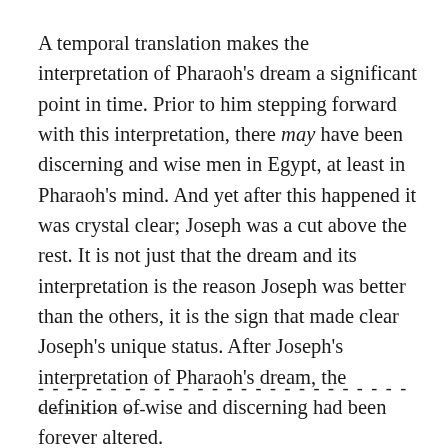A temporal translation makes the interpretation of Pharaoh's dream a significant point in time. Prior to him stepping forward with this interpretation, there may have been discerning and wise men in Egypt, at least in Pharaoh's mind. And yet after this happened it was crystal clear; Joseph was a cut above the rest. It is not just that the dream and its interpretation is the reason Joseph was better than the others, it is the sign that made clear Joseph's unique status. After Joseph's interpretation of Pharaoh's dream, the definition of wise and discerning had been forever altered.
- - - - - - - - - - - - - - - - - - - - - - - - - - - - - - - - - -